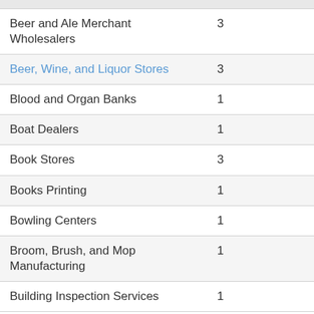| Category |  |
| --- | --- |
| Beer and Ale Merchant Wholesalers | 3 |
| Beer, Wine, and Liquor Stores | 3 |
| Blood and Organ Banks | 1 |
| Boat Dealers | 1 |
| Book Stores | 3 |
| Books Printing | 1 |
| Bowling Centers | 1 |
| Broom, Brush, and Mop Manufacturing | 1 |
| Building Inspection Services | 1 |